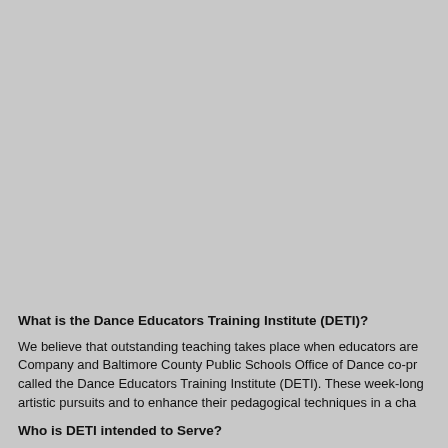What is the Dance Educators Training Institute (DETI)?
We believe that outstanding teaching takes place when educators are Company and Baltimore County Public Schools Office of Dance co-pr called the Dance Educators Training Institute (DETI). These week-long artistic pursuits and to enhance their pedagogical techniques in a cha
Who is DETI intended to Serve?